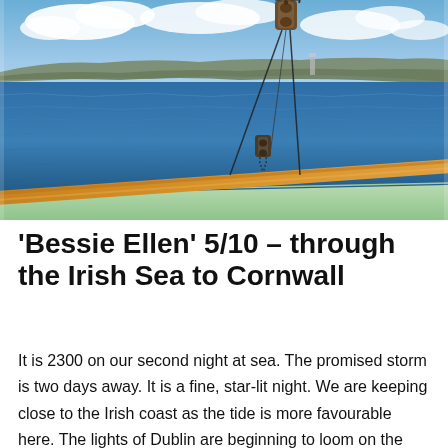[Figure (photo): View from the deck of a sailing vessel looking out over blue sea toward a distant coastline with cliffs. A wooden boom/pole runs diagonally across the lower portion of the image, and rigging blocks and lines hang from above. The sky is blue with white clouds. The hull of the boat is light green at the bottom edge.]
'Bessie Ellen' 5/10 – through the Irish Sea to Cornwall
It is 2300 on our second night at sea. The promised storm is two days away. It is a fine, star-lit night. We are keeping close to the Irish coast as the tide is more favourable here. The lights of Dublin are beginning to loom on the horizon